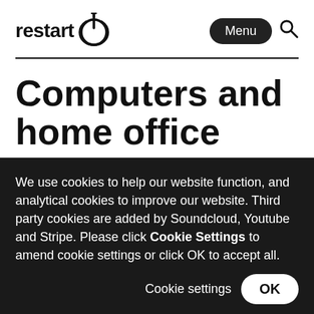restart [logo with power icon] Menu [search icon]
Computers and home office
We see loads of laptops, but also home
We use cookies to help our website function, and analytical cookies to improve our website. Third party cookies are added by Soundcloud, Youtube and Stripe. Please click Cookie Settings to amend cookie settings or click OK to accept all.
Cookie settings  OK